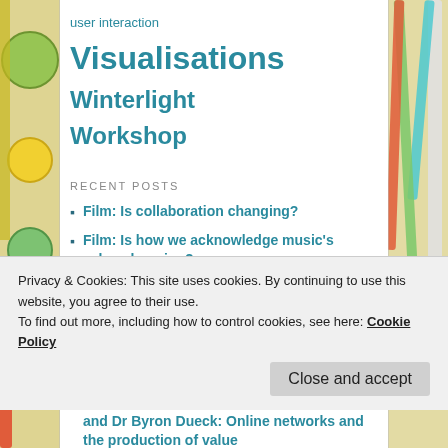user interaction Visualisations Winterlight Workshop
RECENT POSTS
Film: Is collaboration changing?
Film: Is how we acknowledge music's value changing?
Public report: Music, Value, and Social Networks in the Digital World
Networks of value in electronic music: SoundCloud, London, and the importance of place
Dr Daniel Allington, Dr Anna Jordanous, and Dr Byron Dueck: Online networks and the production of value
Privacy & Cookies: This site uses cookies. By continuing to use this website, you agree to their use. To find out more, including how to control cookies, see here: Cookie Policy
Close and accept